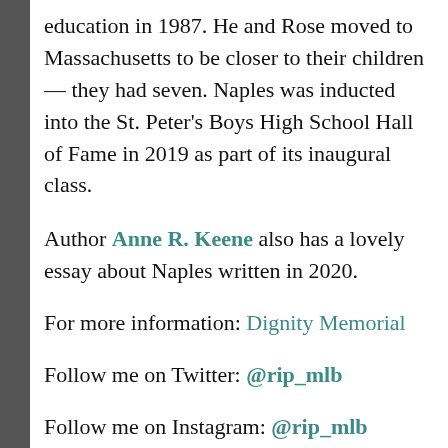education in 1987. He and Rose moved to Massachusetts to be closer to their children — they had seven. Naples was inducted into the St. Peter's Boys High School Hall of Fame in 2019 as part of its inaugural class.
Author Anne R. Keene also has a lovely essay about Naples written in 2020.
For more information: Dignity Memorial
Follow me on Twitter: @rip_mlb
Follow me on Instagram: @rip_mlb
Follow me on Facebook: ripbaseball